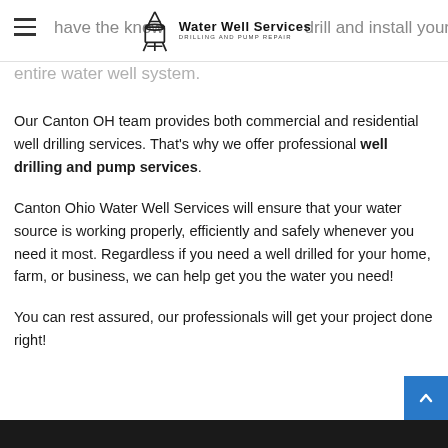Water Well Services – Drilling and Pump Repair
have the know… drill and install your entire water well system.
Our Canton OH team provides both commercial and residential well drilling services. That's why we offer professional well drilling and pump services.
Canton Ohio Water Well Services will ensure that your water source is working properly, efficiently and safely whenever you need it most. Regardless if you need a well drilled for your home, farm, or business, we can help get you the water you need!
You can rest assured, our professionals will get your project done right!